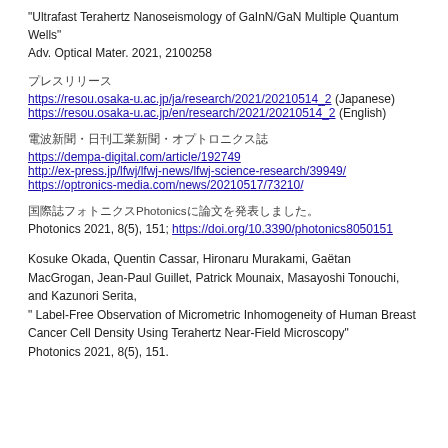"Ultrafast Terahertz Nanoseismology of GaInN/GaN Multiple Quantum Wells"
Adv. Optical Mater. 2021, 2100258
プレスリリース
https://resou.osaka-u.ac.jp/ja/research/2021/20210514_2 (Japanese)
https://resou.osaka-u.ac.jp/en/research/2021/20210514_2 (English)
電波新聞・日刊工業新聞・オプトロニクス誌
https://dempa-digital.com/article/192749
http://ex-press.jp/lfwj/lfwj-news/lfwj-science-research/39949/
https://optronics-media.com/news/20210517/73210/
国際誌フォトニクスPhotonicsに論文を発表しました。
Photonics 2021, 8(5), 151; https://doi.org/10.3390/photonics8050151
Kosuke Okada, Quentin Cassar, Hironaru Murakami, Gaëtan MacGrogan, Jean-Paul Guillet, Patrick Mounaix, Masayoshi Tonouchi, and Kazunori Serita,
" Label-Free Observation of Micrometric Inhomogeneity of Human Breast Cancer Cell Density Using Terahertz Near-Field Microscopy"
Photonics 2021, 8(5), 151.